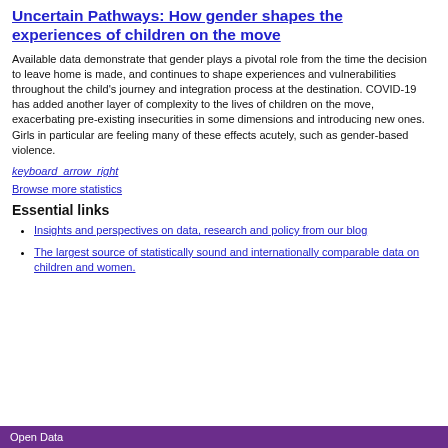Uncertain Pathways: How gender shapes the experiences of children on the move
Available data demonstrate that gender plays a pivotal role from the time the decision to leave home is made, and continues to shape experiences and vulnerabilities throughout the child's journey and integration process at the destination. COVID-19 has added another layer of complexity to the lives of children on the move, exacerbating pre-existing insecurities in some dimensions and introducing new ones. Girls in particular are feeling many of these effects acutely, such as gender-based violence.
keyboard_arrow_right
Browse more statistics
Essential links
Insights and perspectives on data, research and policy from our blog
The largest source of statistically sound and internationally comparable data on children and women.
Open Data